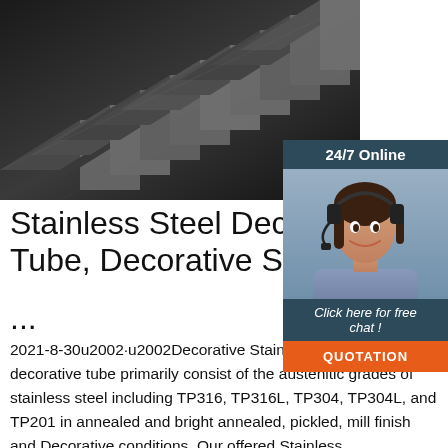[Figure (photo): Close-up photo of stainless steel angle bars/L-shaped steel profiles stacked together, dark metallic gray color]
[Figure (infographic): 24/7 Online chat widget with a woman wearing a headset, 'Click here for free chat!' prompt, and an orange QUOTATION button]
Stainless Steel Decorative Tube, Decorative SS Tu...
...
2021-8-30u2002·u2002Decorative Stainless Steel 202 decorative tube primarily consist of the austenitic grades of stainless steel including TP316, TP316L, TP304, TP304L, and TP201 in annealed and bright annealed, pickled, mill finish and Decorative conditions. Our offered Stainless